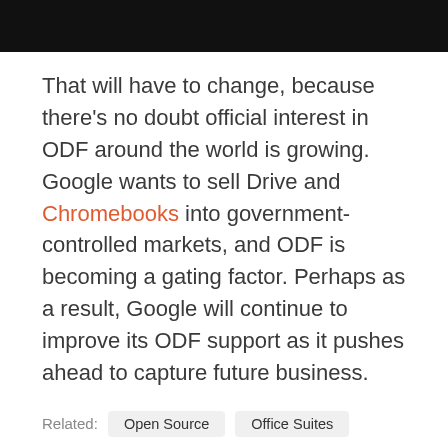That will have to change, because there's no doubt official interest in ODF around the world is growing. Google wants to sell Drive and Chromebooks into government-controlled markets, and ODF is becoming a gating factor. Perhaps as a result, Google will continue to improve its ODF support as it pushes ahead to capture future business.
Related: Open Source  Office Suites
Simon Phipps is a well-known and respected leader in the open source software community, having been